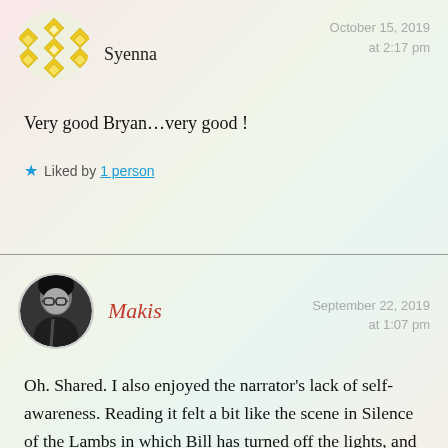[Figure (illustration): Circular avatar with yellow/gold geometric diamond pattern on white background for user Syenna]
Syenna
October 15, 2019
at 2:17 pm
Very good Bryan…very good !
Liked by 1 person
[Figure (photo): Circular avatar photo of a person with glasses and dark hair for user Makis]
Makis
September 22, 2019
at 1:07 pm
Oh. Shared. I also enjoyed the narrator's lack of self-awareness. Reading it felt a bit like the scene in Silence of the Lambs in which Bill has turned off the lights, and we